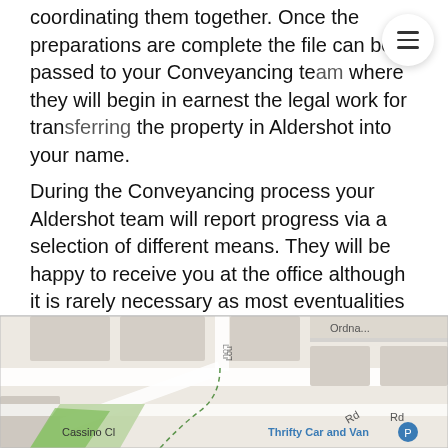coordinating them together. Once the preparations are complete the file can be passed to your Conveyancing team where they will begin in earnest the legal work for transferring the property in Aldershot into your name.
During the Conveyancing process your Aldershot team will report progress via a selection of different means. They will be happy to receive you at the office although it is rarely necessary as most eventualities can be dealt with remotely. Your team are easily contacted by telephone through the switchboard or extension and the system can record a voice mail in the event they are not free at the moment you call. Receive email alerts and send your team an email via their direct email addresses. Or follow your case online via our Conveyancing Case tracker website and smartphone apps.
[Figure (map): Street map showing local area with Cassino Cl road, Ordnance road, and Thrifty Car and Van business marker visible.]